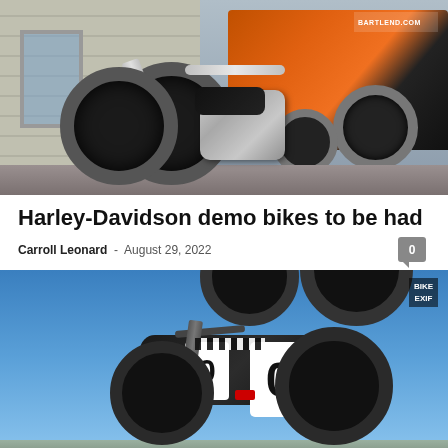[Figure (photo): Black Harley-Davidson Fat Boy motorcycle parked in front of a building with a Harley-Davidson branded orange van in the background]
Harley-Davidson demo bikes to be had
Carroll Leonard - August 29, 2022
[Figure (photo): Dark custom Yamaha-style naked motorcycle with white number 0 panels against a blue sky background, with BIKE EXIF watermark]